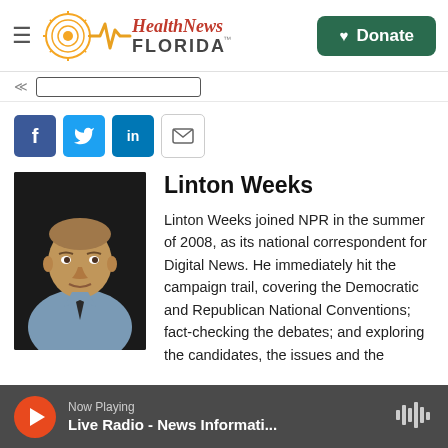Health News Florida — Donate
[Figure (screenshot): Search box and breadcrumb navigation strip]
[Figure (infographic): Social sharing buttons: Facebook, Twitter, LinkedIn, Email]
[Figure (photo): Headshot photo of Linton Weeks, a man in a light blue shirt and dark tie against a dark background]
Linton Weeks
Linton Weeks joined NPR in the summer of 2008, as its national correspondent for Digital News. He immediately hit the campaign trail, covering the Democratic and Republican National Conventions; fact-checking the debates; and exploring the candidates, the issues and the
Now Playing Live Radio - News Informati...